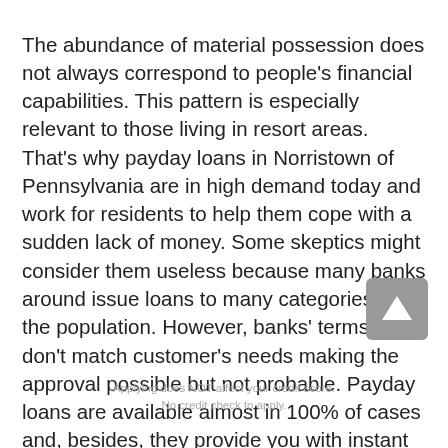The abundance of material possession does not always correspond to people's financial capabilities. This pattern is especially relevant to those living in resort areas. That's why payday loans in Norristown of Pennsylvania are in high demand today and work for residents to help them cope with a sudden lack of money. Some skeptics might consider them useless because many banks around issue loans to many categories of the population. However, banks' terms often don't match customer's needs making the approval possible but not probable. Payday loans are available almost in 100% of cases and, besides, they provide you with instant money.
Norristown payday loans are an opportunity to get cash in advance for a short term, and it is commonly due on your next payday. One can get them in storefront lenders or online. They are notorious for high cost but remarkable for loyal requirements for credit rating. It means that people with bad credit can still count on financial help. Norristown